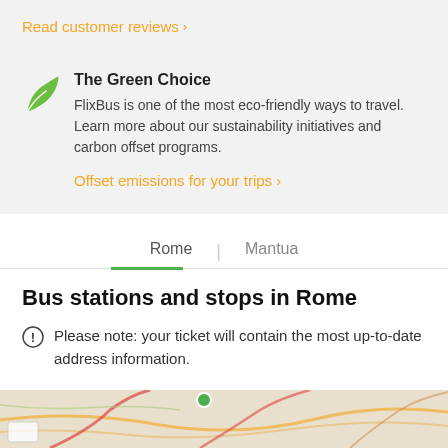Read customer reviews >
The Green Choice
FlixBus is one of the most eco-friendly ways to travel. Learn more about our sustainability initiatives and carbon offset programs.
Offset emissions for your trips >
Rome | Mantua
Bus stations and stops in Rome
Please note: your ticket will contain the most up-to-date address information.
[Figure (map): Map showing bus stations area, partially visible at bottom of page.]